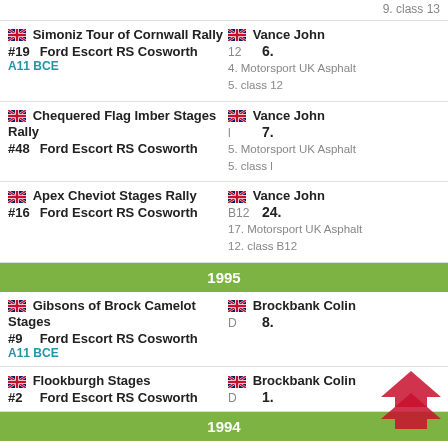9. class 13
Simoniz Tour of Cornwall Rally #19 Ford Escort RS Cosworth A11 BCE | Vance John | 12 | 6. | 4. Motorsport UK Asphalt | 5. class 12
Chequered Flag Imber Stages Rally #48 Ford Escort RS Cosworth | Vance John | l | 7. | 5. Motorsport UK Asphalt | 5. class l
Apex Cheviot Stages Rally #16 Ford Escort RS Cosworth | Vance John | B12 | 24. | 17. Motorsport UK Asphalt | 12. class B12
1995
Gibsons of Brock Camelot Stages #9 Ford Escort RS Cosworth A11 BCE | Brockbank Colin | D | 8.
Flookburgh Stages #2 Ford Escort RS Cosworth | Brockbank Colin | D | 1.
1994
Flookburgh Stages #4 Ford Escort RS Cosworth | Brockbank Colin | 4 | 2.